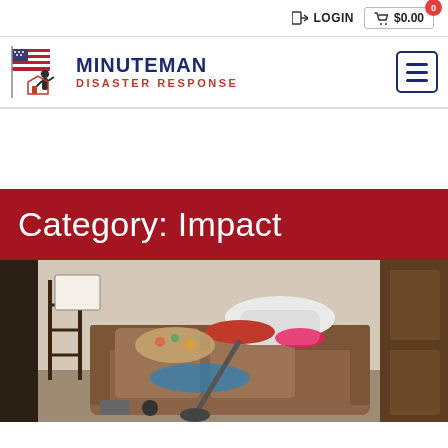LOGIN  $0.00  0
[Figure (logo): Minuteman Disaster Response logo with American flag and figure]
Category: Impact
[Figure (photo): Cluttered room with overturned furniture, clothes and items piled on a sofa, vacuum cleaner visible]